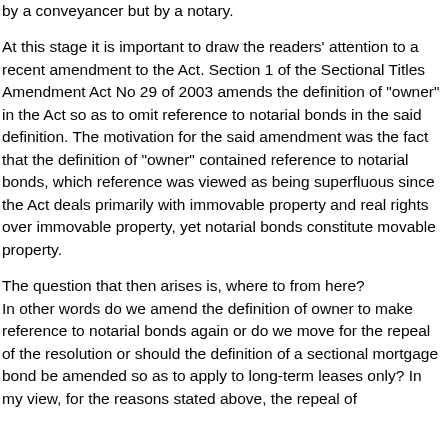by a conveyancer but by a notary.
At this stage it is important to draw the readers' attention to a recent amendment to the Act. Section 1 of the Sectional Titles Amendment Act No 29 of 2003 amends the definition of "owner" in the Act so as to omit reference to notarial bonds in the said definition. The motivation for the said amendment was the fact that the definition of "owner" contained reference to notarial bonds, which reference was viewed as being superfluous since the Act deals primarily with immovable property and real rights over immovable property, yet notarial bonds constitute movable property.
The question that then arises is, where to from here? In other words do we amend the definition of owner to make reference to notarial bonds again or do we move for the repeal of the resolution or should the definition of a sectional mortgage bond be amended so as to apply to long-term leases only? In my view, for the reasons stated above, the repeal of